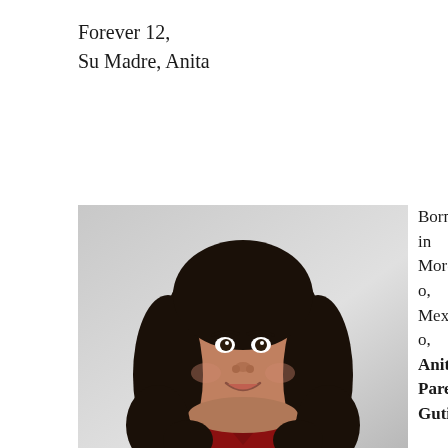Forever 12,
Su Madre, Anita
[Figure (photo): Portrait photo of a young woman with long dark wavy hair, wearing a red v-neck top, smiling, against a light background.]
Born in Morelo, Mexico, Anita Pareja Gutier...